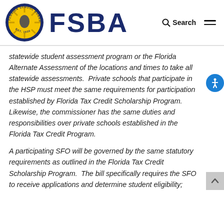[Figure (logo): Florida School Boards Association circular logo with yellow sunburst and Florida state outline, EST. 1930]
FSBA
statewide student assessment program or the Florida Alternate Assessment of the locations and times to take all statewide assessments.  Private schools that participate in the HSP must meet the same requirements for participation established by Florida Tax Credit Scholarship Program. Likewise, the commissioner has the same duties and responsibilities over private schools established in the Florida Tax Credit Program.
A participating SFO will be governed by the same statutory requirements as outlined in the Florida Tax Credit Scholarship Program.  The bill specifically requires the SFO to receive applications and determine student eligibility;